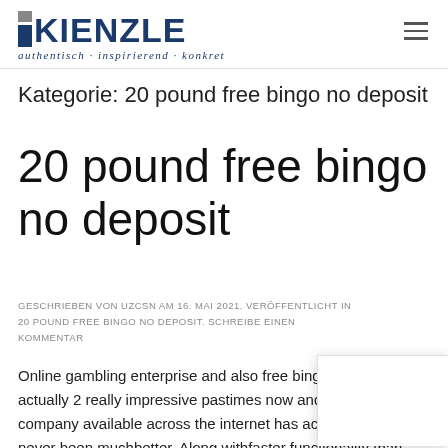KIENZLE — authentisch · inspirierend · konkret
Kategorie: 20 pound free bingo no deposit
20 pound free bingo no deposit
GESCHRIEBEN VON UZCSN AM 16. MAI 2021. VERÖFFENTLICHT IN 20 POUND FREE BINGO NO DEPOSIT. SCHREIBE EINEN KOMMENTAR
Online gambling enterprise and also free bingo websites are actually 2 really impressive pastimes now and also the company available across the internet has actually certainly never been muchbetter. Along withfaster functionality than ever,